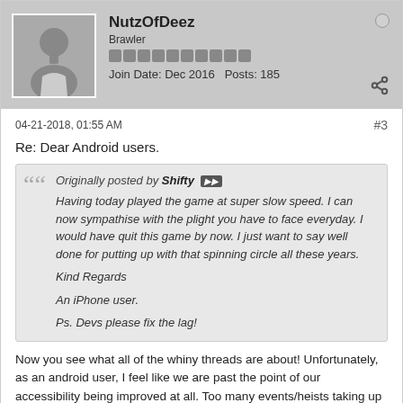NutzOfDeez | Brawler | Join Date: Dec 2016 | Posts: 185
04-21-2018, 01:55 AM
#3
Re: Dear Android users.
Originally posted by Shifty
Having today played the game at super slow speed. I can now sympathise with the plight you have to face everyday. I would have quit this game by now. I just want to say well done for putting up with that spinning circle all these years.

Kind Regards

An iPhone user.

Ps. Devs please fix the lag!
Now you see what all of the whiny threads are about! Unfortunately, as an android user, I feel like we are past the point of our accessibility being improved at all. Too many events/heists taking up the devs time, instead of helping a huge part of the player base to be able to have the same gameplay as our iPhone counterparts.